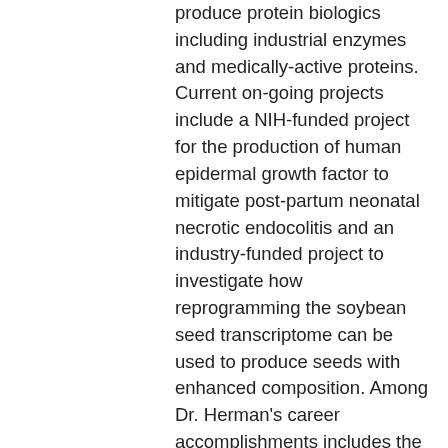produce protein biologics including industrial enzymes and medically-active proteins. Current on-going projects include a NIH-funded project for the production of human epidermal growth factor to mitigate post-partum neonatal necrotic endocolitis and an industry-funded project to investigate how reprogramming the soybean seed transcriptome can be used to produce seeds with enhanced composition. Among Dr. Herman's career accomplishments includes the discovery of the soybean protein that is the immunodominant neonatal allergen (P34/Gly m Bd 30k) that has subsequently been shown to be a significant feed allergen in neonatal swine. Dr. Herman led producing the first transgenic removed a major human food allergen by suppressing P34/Gly m Bd30k. This accomplishment resulted in